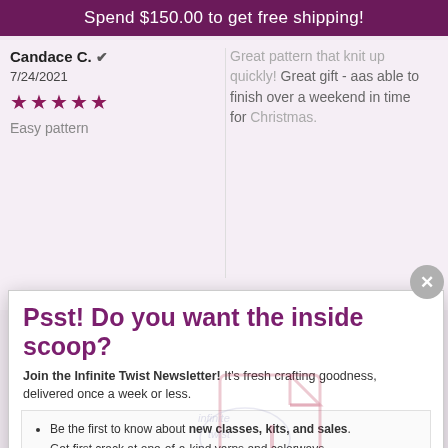Spend $150.00 to get free shipping!
Candace C. ✓
7/24/2021
★★★★★
Easy pattern
Great pattern that knit up quickly! Great gift - aas able to finish over a weekend in time for Christmas.
Psst! Do you want the inside scoop?
Join the Infinite Twist Newsletter! It's fresh crafting goodness, delivered once a week or less.
Be the first to know about new classes, kits, and sales.
Get first crack at one-of-a-kind yarns and colorways.
Get exclusive offers, including free patterns and special discounts just for subscribers.
Email
Won't you join us?
SIGN UP!
*By completing this form you are signing up to receive our emails and can unsubscribe at any time.
[Figure (logo): Infinite Twist Knitting Patterns PDF watermark logo overlay]